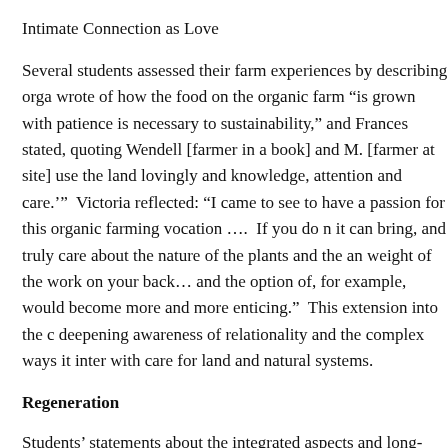Intimate Connection as Love
Several students assessed their farm experiences by describing orga wrote of how the food on the organic farm “is grown with patience is necessary to sustainability,” and Frances stated, quoting Wendell [farmer in a book] and M. [farmer at site] use the land lovingly and knowledge, attention and care.’”  Victoria reflected: “I came to see to have a passion for this organic farming vocation ….  If you do n it can bring, and truly care about the nature of the plants and the an weight of the work on your back… and the option of, for example, would become more and more enticing.”  This extension into the c deepening awareness of relationality and the complex ways it inter with care for land and natural systems.
Regeneration
Students’ statements about the integrated aspects and long-term im reveal how they conceptualized regeneration.  In an agricultural co simple as saving seeds, planting perennial vegetables and flowers,